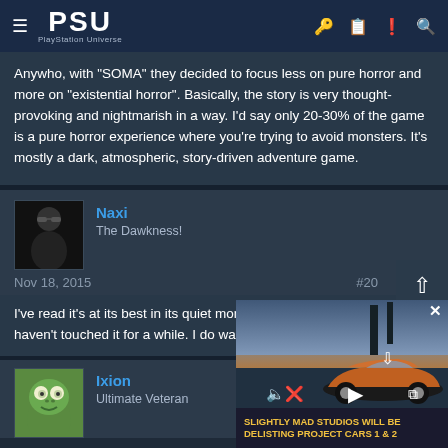PSU - PlayStation Universe
Anywho, with "SOMA" they decided to focus less on pure horror and more on "existential horror". Basically, the story is very thought-provoking and nightmarish in a way. I'd say only 20-30% of the game is a pure horror experience where you're trying to avoid monsters. It's mostly a dark, atmospheric, story-driven adventure game.
Naxi
The Dawkness!
Nov 18, 2015  #20
I've read it's at its best in its quiet moments. I've played a bit, but haven't touched it for a while. I do want to complete it.
Ixion
Ultimate Veteran
[Figure (screenshot): Video overlay showing a sports car advertisement with text 'SLIGHTLY MAD STUDIOS WILL BE DELISTING PROJECT CARS 1 & 2']